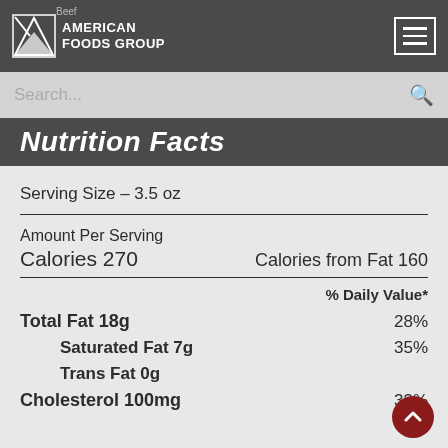[Figure (logo): American Foods Group logo with star/flag icon on dark gray header bar]
Search...
Nutrition Facts
Serving Size – 3.5 oz
Amount Per Serving
Calories 270   Calories from Fat 160
% Daily Value*
Total Fat 18g   28%
Saturated Fat 7g   35%
Trans Fat 0g
Cholesterol 100mg   33%